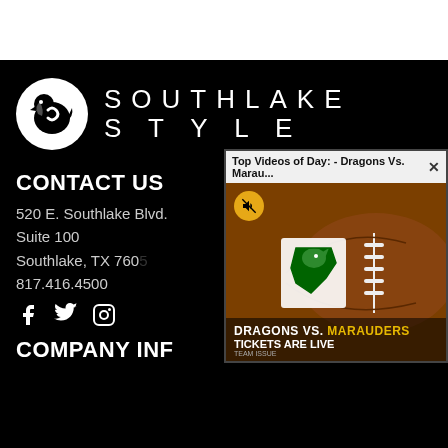[Figure (logo): Southlake Style logo: white circle with dragon/eagle silhouette and text SOUTHLAKE STYLE in spaced white letters on black background]
CONTACT US
520 E. Southlake Blvd.
Suite 100
Southlake, TX 760
817.416.4500
[Figure (infographic): Social media icons: Facebook, Twitter, Instagram]
[Figure (screenshot): Video popup overlay: 'Top Videos of Day: - Dragons Vs. Marau...' with football image, dragon logo, text DRAGONS VS. MARAUDERS TICKETS ARE LIVE, TEAM ISSUE]
COMPANY INF